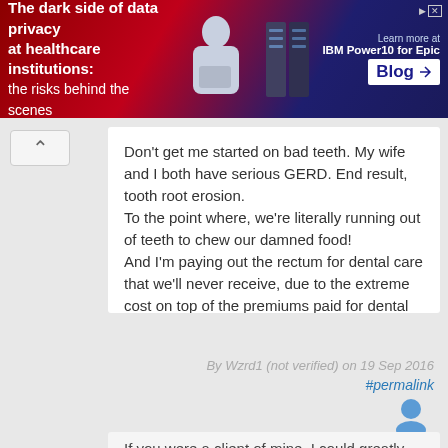[Figure (infographic): Ad banner: 'The dark side of data privacy at healthcare institutions: the risks behind the scenes'. IBM Power10 for Epic Blog ad.]
Don't get me started on bad teeth. My wife and I both have serious GERD. End result, tooth root erosion.
To the point where, we're literally running out of teeth to chew our damned food!
And I'm paying out the rectum for dental care that we'll never receive, due to the extreme cost on top of the premiums paid for dental insurance.
Log in to post comments
By Wzrd1 (not verified) on 19 Sep 2016
#permalink
If you were a client of mine, I could greatly